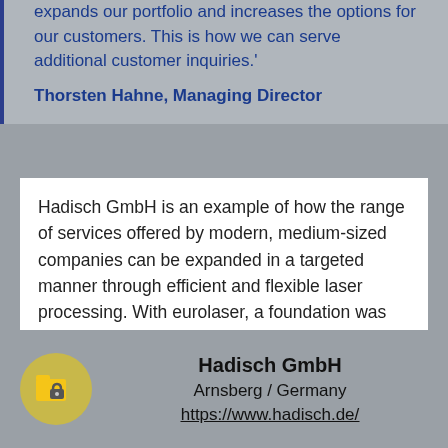expands our portfolio and increases the options for our customers. This is how we can serve additional customer inquiries.'
Thorsten Hahne, Managing Director
Hadisch GmbH is an example of how the range of services offered by modern, medium-sized companies can be expanded in a targeted manner through efficient and flexible laser processing. With eurolaser, a foundation was laid here to ensure that customers can continue to be offered the highest possible quality and product variety in the future, while efficiency and profitability are further increased.
Hadisch GmbH
Arnsberg / Germany
https://www.hadisch.de/